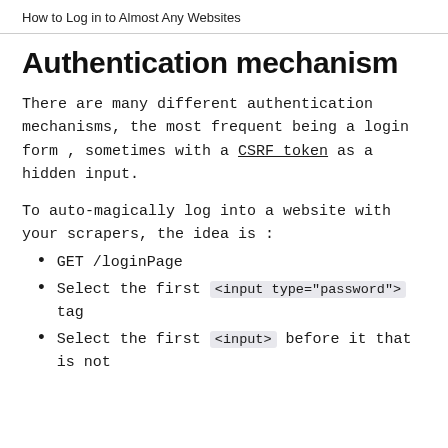How to Log in to Almost Any Websites
Authentication mechanism
There are many different authentication mechanisms, the most frequent being a login form , sometimes with a CSRF token as a hidden input.
To auto-magically log into a website with your scrapers, the idea is :
GET /loginPage
Select the first <input type="password"> tag
Select the first <input> before it that is not